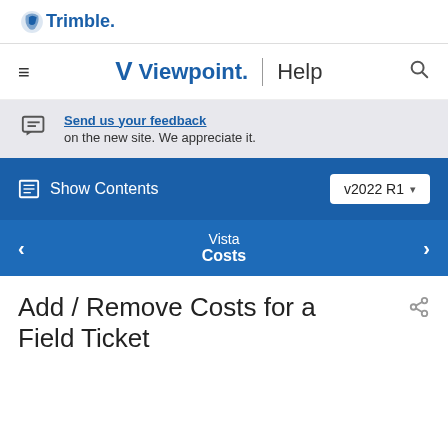[Figure (logo): Trimble logo with globe icon and bold 'Trimble.' text in blue]
V Viewpoint. | Help
Send us your feedback on the new site. We appreciate it.
Show Contents  v2022 R1
Vista Costs
Add / Remove Costs for a Field Ticket